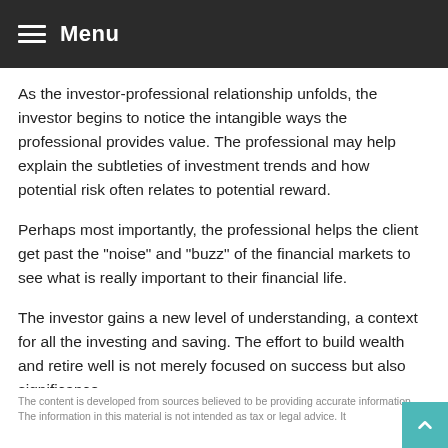Menu
As the investor-professional relationship unfolds, the investor begins to notice the intangible ways the professional provides value. The professional may help explain the subtleties of investment trends and how potential risk often relates to potential reward.
Perhaps most importantly, the professional helps the client get past the "noise" and "buzz" of the financial markets to see what is really important to their financial life.
The investor gains a new level of understanding, a context for all the investing and saving. The effort to build wealth and retire well is not merely focused on success but also significance.
The content is developed from sources believed to be providing accurate information. The information in this material is not intended as tax or legal advice. It